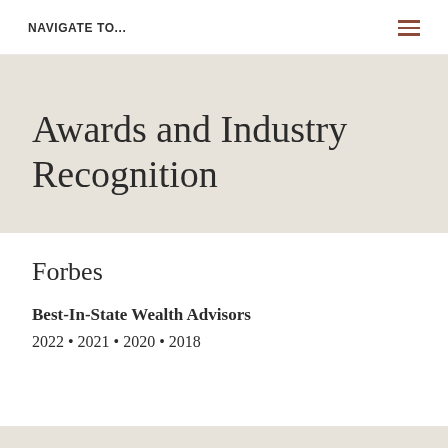NAVIGATE TO...
Awards and Industry Recognition
Forbes
Best-In-State Wealth Advisors
2022 • 2021 • 2020 • 2018